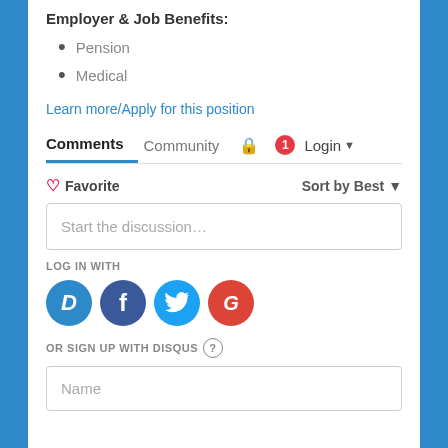Employer & Job Benefits:
Pension
Medical
Learn more/Apply for this position
Comments   Community   🔒   1   Login ▾
♡ Favorite   Sort by Best ▾
Start the discussion…
LOG IN WITH
[Figure (logo): Social login icons: Disqus (D), Facebook (f), Twitter bird, Google (G)]
OR SIGN UP WITH DISQUS ?
Name